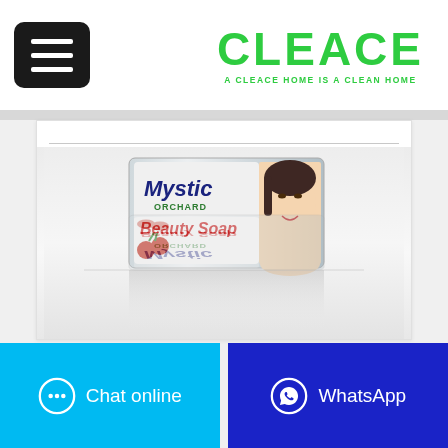[Figure (logo): Cleace brand logo — green bold text reading CLEACE with tagline A CLEACE HOME IS A CLEAN HOME]
[Figure (photo): Mystic Orchard Beauty Soap product box with a woman's face and cherries, shown on a reflective white surface with mirror reflection below]
Chat online
WhatsApp